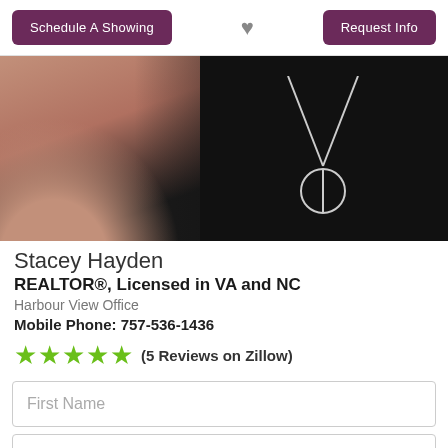[Figure (screenshot): Top navigation bar with Schedule A Showing and Request Info purple buttons, and a heart icon in the center]
[Figure (photo): Partial photo of real estate agent Stacey Hayden wearing black top with necklace, cropped view]
Stacey Hayden
REALTOR®, Licensed in VA and NC
Harbour View Office
Mobile Phone: 757-536-1436
★★★★★ (5 Reviews on Zillow)
First Name
Last Name
Email